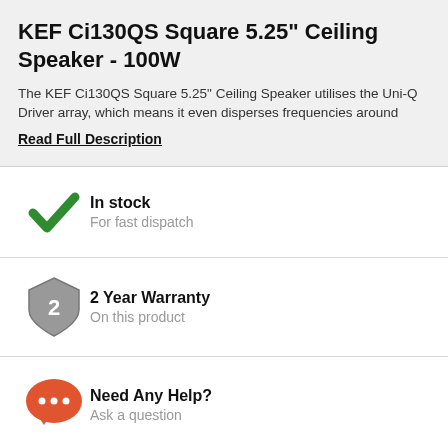KEF Ci130QS Square 5.25" Ceiling Speaker - 100W
The KEF Ci130QS Square 5.25" Ceiling Speaker utilises the Uni-Q Driver array, which means it even disperses frequencies around
Read Full Description
In stock — For fast dispatch
2 Year Warranty — On this product
Need Any Help? — Ask a question